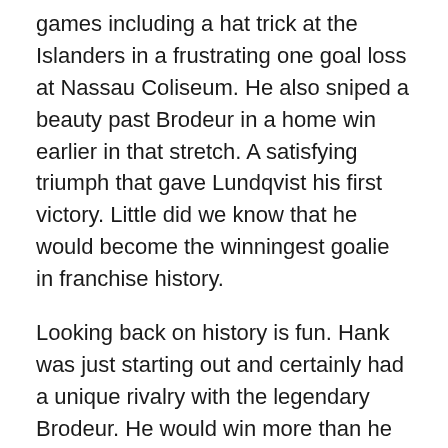games including a hat trick at the Islanders in a frustrating one goal loss at Nassau Coliseum. He also sniped a beauty past Brodeur in a home win earlier in that stretch. A satisfying triumph that gave Lundqvist his first victory. Little did we know that he would become the winningest goalie in franchise history.
Looking back on history is fun. Hank was just starting out and certainly had a unique rivalry with the legendary Brodeur. He would win more than he would lose during the all-time regular season match-ups between the pair of great number 30's for the Hudson rivals. I'm sure he would trade the bitter 2012 Conference Final loss with some of those victories. Brodeur won two of three playoff series head-to-head versus Lundqvist.
To be honest, May 25, 2012 still hurts. I went for a walk in